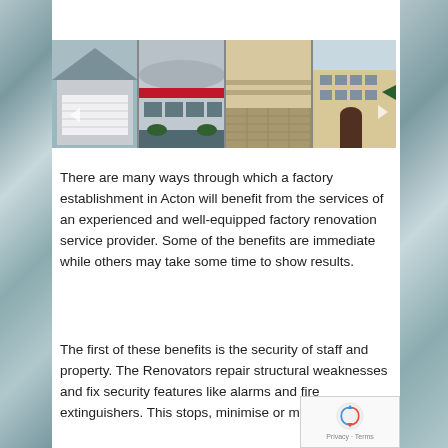[Figure (photo): A horizontal strip of four building/property photos: a residential garage with white door, a commercial building with red stripe, an interior room with tiled floor, and a tan commercial building with green awning.]
There are many ways through which a factory establishment in Acton will benefit from the services of an experienced and well-equipped factory renovation service provider. Some of the benefits are immediate while others may take some time to show results.
The first of these benefits is the security of staff and property. The Renovators repair structural weaknesses and fix security features like alarms and fire extinguishers. This stops, minimise or manage